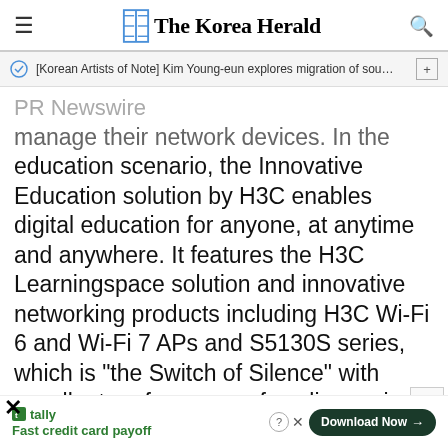The Korea Herald
[Korean Artists of Note] Kim Young-eun explores migration of sou…
PR Newswire
manage their network devices. In the education scenario, the Innovative Education solution by H3C enables digital education for anyone, at anytime and anywhere. It features the H3C Learningspace solution and innovative networking products including H3C Wi-Fi 6 and Wi-Fi 7 APs and S5130S series, which is "the Switch of Silence" with excellent performance of cooling, noise and power consumption reduction.
Fast credit card payoff — Tally — Download Now